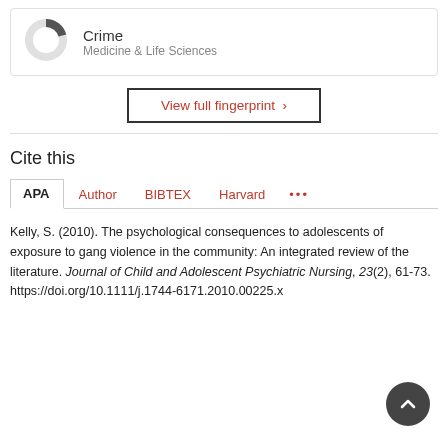[Figure (donut-chart): Small donut/ring chart with dark slice indicating 'Crime' category]
Crime
Medicine & Life Sciences
View full fingerprint ›
Cite this
APA  Author  BIBTEX  Harvard  ...
Kelly, S. (2010). The psychological consequences to adolescents of exposure to gang violence in the community: An integrated review of the literature. Journal of Child and Adolescent Psychiatric Nursing, 23(2), 61-73. https://doi.org/10.1111/j.1744-6171.2010.00225.x